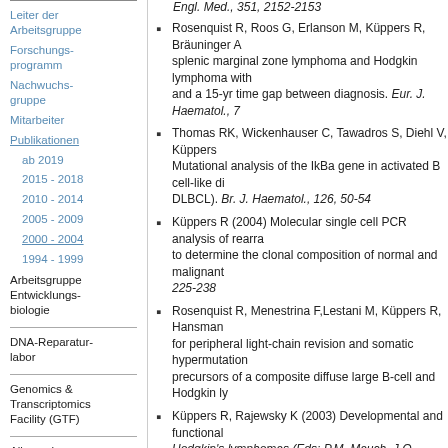Engl. Med., 351, 2152-2153
Rosenquist R, Roos G, Erlanson M, Küppers R, Bräuninger A ... splenic marginal zone lymphoma and Hodgkin lymphoma with ... and a 15-yr time gap between diagnosis. Eur. J. Haematol., 7...
Thomas RK, Wickenhauser C, Tawadros S, Diehl V, Küppers ... Mutational analysis of the IkBa gene in activated B cell-like di... DLBCL). Br. J. Haematol., 126, 50-54
Küppers R (2004) Molecular single cell PCR analysis of rearra... to determine the clonal composition of normal and malignant ... 225-238
Rosenquist R, Menestrina F,Lestani M, Küppers R, Hansman... for peripheral light-chain revision and somatic hypermutation ... precursors of a composite diffuse large B-cell and Hodgkin ly...
Küppers R, Rajewsky K (2003) Developmental and functional... Hodgkin's lymphomas (Eds: P.M. Mauch, J.O. Armitage, N.L. ... Lippincott Williams & Wilkins, Baltimore
Falini B, Tiacci E, Pucciarini A, Bigerna B, Kurth J, Hatzivassil... Gambacorta M, Orazi A, Pasqualucci L, Miller I, Küppers R, D... Expression of the IRTA1 receptor identifies intra-epithelial and... the mucosa-associated lymphoid tissue (MALT). Blood, 102, 3...
Tinguely M, Rosenquist R, Sundström C, Amini R-M, Küppers... (2003) Analysis of a clonally related mantle cell and Hodgkin l... infection of a Hodgkin/Reed-Sternberg cell precursor in a g...
Leiter der Arbeitsgruppe
Forschungs-programm
Nachwuchs-gruppe
Mitarbeiter
Publikationen
ab 2019
2015 - 2018
2010 - 2014
2005 - 2009
2000 - 2004
1994 - 1999
Arbeitsgruppe Entwicklungs-biologie
DNA-Reparatur-labor
Genomics & Transcriptomics Facility (GTF)
Allgemeine